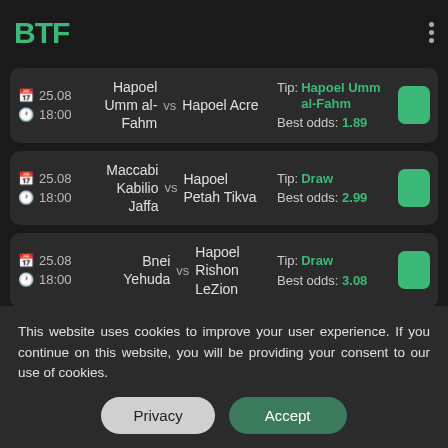BTF
25.08 18:00 Hapoel Umm al-Fahm vs Hapoel Acre — Tip: Hapoel Umm al-Fahm, Best odds: 1.89
25.08 18:00 Maccabi Kabilio Jaffa vs Hapoel Petah Tikva — Tip: Draw, Best odds: 2.99
25.08 18:00 Bnei Yehuda vs Hapoel Rishon LeZion — Tip: Draw, Best odds: 3.08
This website uses cookies to improve your user experience. If you continue on this website, you will be providing your consent to our use of cookies.